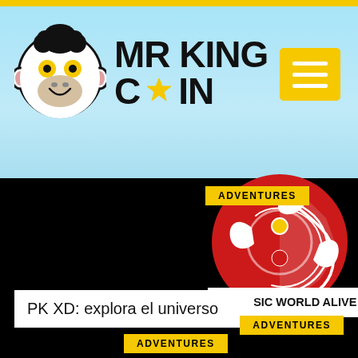MR KING COIN
[Figure (logo): Mr King Coin logo with monkey face and text MR KING COIN with a star]
[Figure (illustration): Yellow square hamburger menu button with three white horizontal lines]
ADVENTURES
[Figure (illustration): Jurassic World Alive circular logo - red circle with white dragon silhouette]
JURASSIC WORLD ALIVE
PK XD: explora el universo
ADVENTURES
ADVENTURES